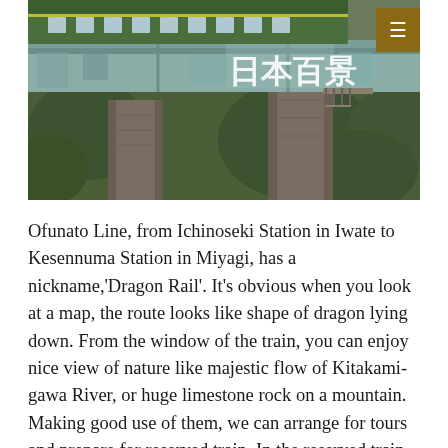[Figure (photo): A railway bridge/viaduct with a green train on top, showing large concrete pillars and steel girders with Japanese characters (日本百景) painted on the side. Lush green vegetation surrounds the structure.]
Ofunato Line, from Ichinoseki Station in Iwate to Kesennuma Station in Miyagi, has a nickname,'Dragon Rail'. It's obvious when you look at a map, the route looks like shape of dragon lying down. From the window of the train, you can enjoy nice view of nature like majestic flow of Kitakami-gawa River, or huge limestone rock on a mountain. Making good use of them, we can arrange for tours and prepare for reserved train. In the reserved train, various arrangements are available. For example, having an exceptional stop at a marvelous view like Geibikei Gorge and listening to boatman's singing face to face. In addition, you can enjoy singing with karaoke in the train,or be handed a can of apple juice from local women, because apples are local specialty in Iwate. What's more, stopover at a station and having an experience of making Mochi, rice cake. Finally